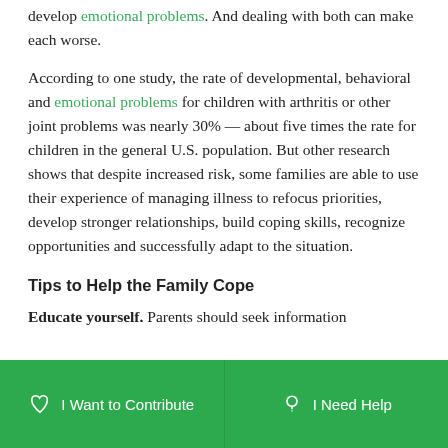develop emotional problems. And dealing with both can make each worse.
According to one study, the rate of developmental, behavioral and emotional problems for children with arthritis or other joint problems was nearly 30% — about five times the rate for children in the general U.S. population. But other research shows that despite increased risk, some families are able to use their experience of managing illness to refocus priorities, develop stronger relationships, build coping skills, recognize opportunities and successfully adapt to the situation.
Tips to Help the Family Cope
Educate yourself. Parents should seek information
I Want to Contribute | I Need Help